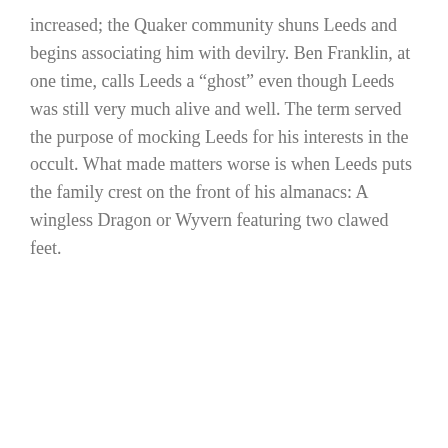increased; the Quaker community shuns Leeds and begins associating him with devilry. Ben Franklin, at one time, calls Leeds a “ghost” even though Leeds was still very much alive and well. The term served the purpose of mocking Leeds for his interests in the occult. What made matters worse is when Leeds puts the family crest on the front of his almanacs: A wingless Dragon or Wyvern featuring two clawed feet.